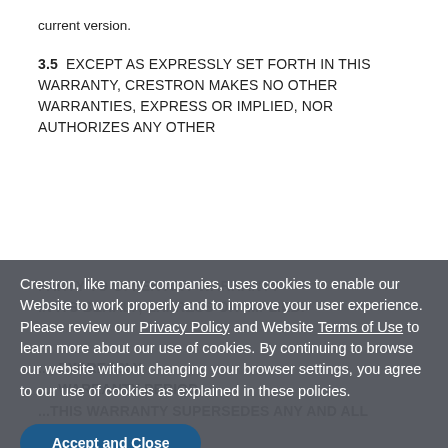current version.
3.5  EXCEPT AS EXPRESSLY SET FORTH IN THIS WARRANTY, CRESTRON MAKES NO OTHER WARRANTIES, EXPRESS OR IMPLIED, NOR AUTHORIZES ANY OTHER PARTY TO OFFER ANY WARRANTY IN ITS BEHALF, EXPRESS OR IMPLIED.
Crestron, like many companies, uses cookies to enable our Website to work properly and to improve your user experience. Please review our Privacy Policy and Website Terms of Use to learn more about our use of cookies. By continuing to browse our website without changing your browser settings, you agree to our use of cookies as explained in these policies.
Accept and Close